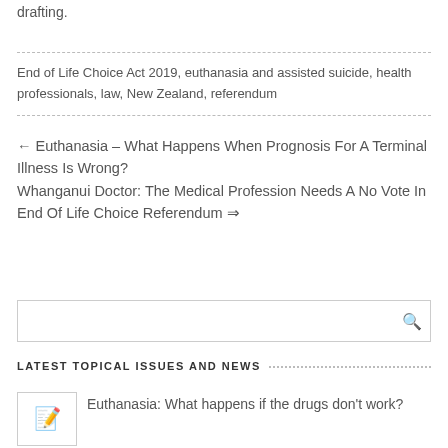drafting.
End of Life Choice Act 2019, euthanasia and assisted suicide, health professionals, law, New Zealand, referendum
← Euthanasia – What Happens When Prognosis For A Terminal Illness Is Wrong?  Whanganui Doctor: The Medical Profession Needs A No Vote In End Of Life Choice Referendum ⇒
LATEST TOPICAL ISSUES AND NEWS
Euthanasia: What happens if the drugs don't work?